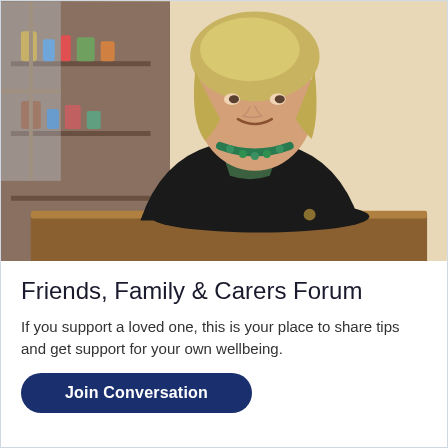[Figure (photo): An older woman with blonde hair, wearing a black sweater with a green necklace, seated at a wooden table, smiling at the camera. Background shows shelves with items on the left and a warm cream wall on the right.]
Friends, Family & Carers Forum
If you support a loved one, this is your place to share tips and get support for your own wellbeing.
Join Conversation